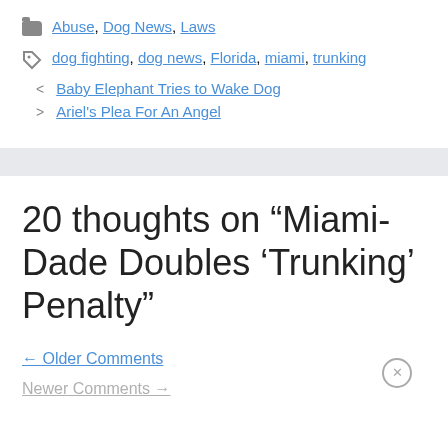Categories: Abuse, Dog News, Laws
Tags: dog fighting, dog news, Florida, miami, trunking
< Baby Elephant Tries to Wake Dog
> Ariel's Plea For An Angel
20 thoughts on “Miami-Dade Doubles ‘Trunking’ Penalty”
← Older Comments
Newer Comments →